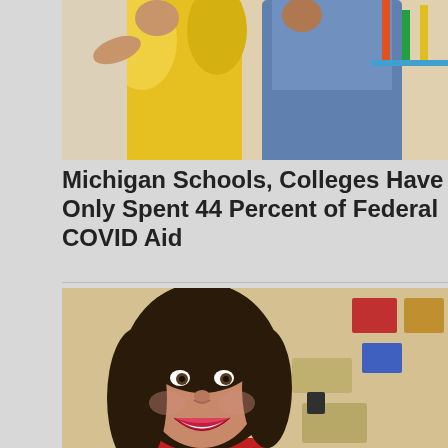[Figure (photo): Photo of a teacher or adult in a yellow top leaning toward children in a school/educational setting with colorful play equipment in background]
Michigan Schools, Colleges Have Only Spent 44 Percent of Federal COVID Aid
[Figure (photo): Photo of Gov. Whitmer, a woman with dark hair and red jacket, smiling, with a blurred classroom full of desks in the background]
Gov. Whitmer Suggests School Sales Tax Holiday; GOP Calls It 'Pandering'